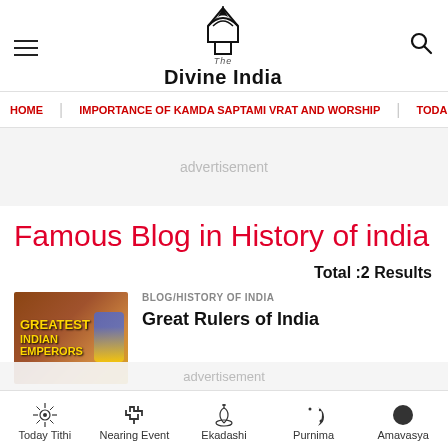The Divine India
HOME | IMPORTANCE OF KAMDA SAPTAMI VRAT AND WORSHIP | TODA
advertisement
Famous Blog in History of india
Total :2 Results
BLOG/HISTORY OF INDIA
Great Rulers of India
advertisement
Today Tithi | Nearing Event | Ekadashi | Purnima | Amavasya